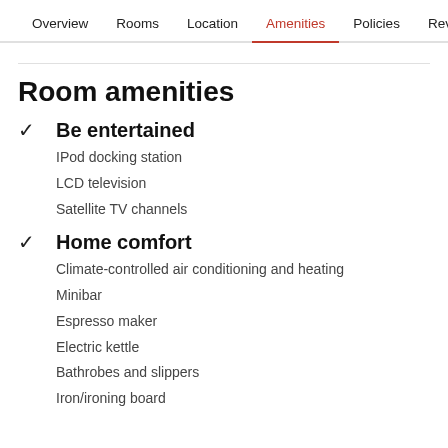Overview  Rooms  Location  Amenities  Policies  Reviews
Room amenities
Be entertained
IPod docking station
LCD television
Satellite TV channels
Home comfort
Climate-controlled air conditioning and heating
Minibar
Espresso maker
Electric kettle
Bathrobes and slippers
Iron/ironing board